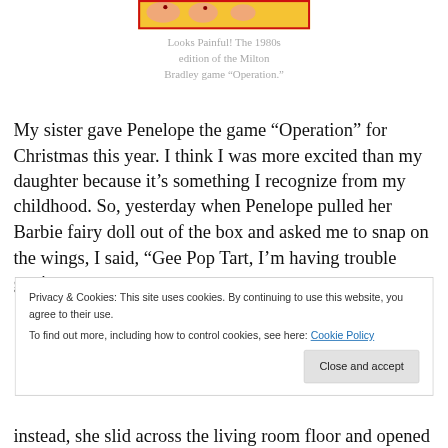[Figure (photo): Cropped image of the 1980s Milton Bradley Operation board game box, showing the yellow game board with cartoon patient and red border.]
Looks Painful! The 1980s edition of the Milton Bradley game “Operation.”
My sister gave Penelope the game “Operation” for Christmas this year. I think I was more excited than my daughter because it’s something I recognize from my childhood. So, yesterday when Penelope pulled her Barbie fairy doll out of the box and asked me to snap on the wings, I said, “Gee Pop Tart, I’m having trouble getting
Privacy & Cookies: This site uses cookies. By continuing to use this website, you agree to their use.
To find out more, including how to control cookies, see here: Cookie Policy
Close and accept
instead, she slid across the living room floor and opened a